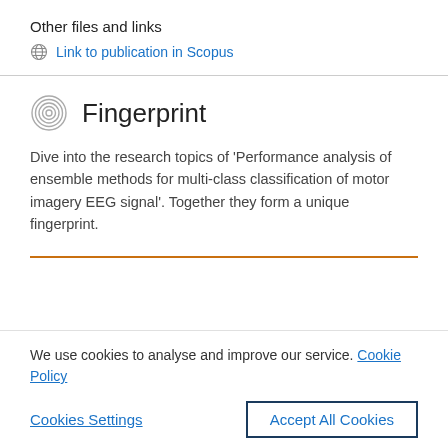Other files and links
Link to publication in Scopus
Fingerprint
Dive into the research topics of 'Performance analysis of ensemble methods for multi-class classification of motor imagery EEG signal'. Together they form a unique fingerprint.
We use cookies to analyse and improve our service. Cookie Policy
Cookies Settings
Accept All Cookies